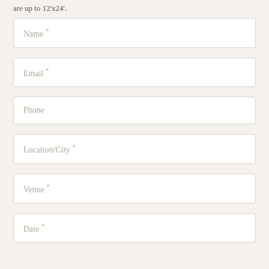are up to 12'x24'.
Name *
Email *
Phone
Location/City *
Venue *
Date *